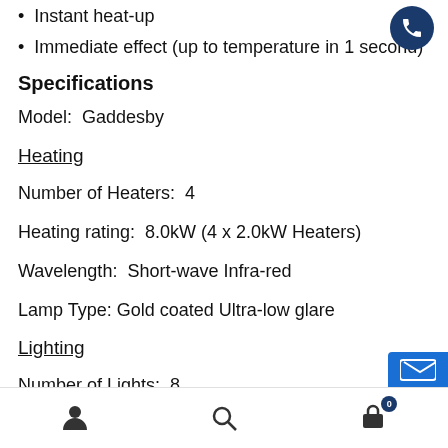Instant heat-up
Immediate effect (up to temperature in 1 second)
Specifications
Model:  Gaddesby
Heating
Number of Heaters:  4
Heating rating:  8.0kW (4 x 2.0kW Heaters)
Wavelength:  Short-wave Infra-red
Lamp Type: Gold coated Ultra-low glare
Lighting
Number of Lights:  8
User icon | Search icon | Cart (0)